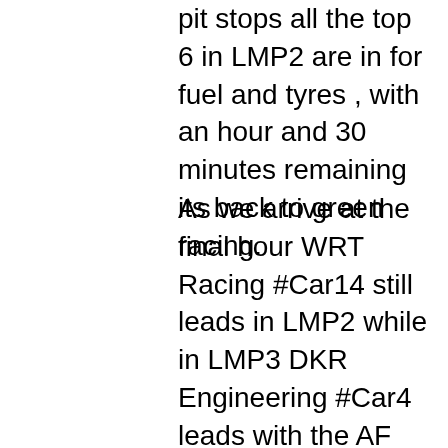pit stops all the top 6 in LMP2 are in for fuel and tyres , with an hour and 30 minutes remaining its back to green racing.
As we arrive at the final hour WRT Racing #Car14 still leads in LMP2 while in LMP3 DKR Engineering #Car4 leads with the AF Corse #Car88 now leading in LMGTE, all through the field exciting battles are taking place as we move into the final part of the race with only 4 minutes of the 4 hours remaining more drama as #Car5 of MV2S racing in LMP3 class hits the barriers at Eau Rouge its another Full Course Yellow the 2nd of the race but its not for long as the marshal's do a fantastic job of clearing the car and debris from the track and with only 1 minute and 15 seconds to go we are back green its going to be a minute sprint to the